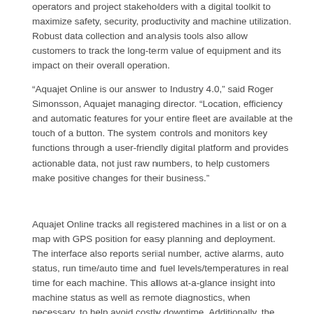operators and project stakeholders with a digital toolkit to maximize safety, security, productivity and machine utilization. Robust data collection and analysis tools also allow customers to track the long-term value of equipment and its impact on their overall operation.
“Aquajet Online is our answer to Industry 4.0,” said Roger Simonsson, Aquajet managing director. “Location, efficiency and automatic features for your entire fleet are available at the touch of a button. The system controls and monitors key functions through a user-friendly digital platform and provides actionable data, not just raw numbers, to help customers make positive changes for their business.”
Aquajet Online tracks all registered machines in a list or on a map with GPS position for easy planning and deployment. The interface also reports serial number, active alarms, auto status, run time/auto time and fuel levels/temperatures in real time for each machine. This allows at-a-glance insight into machine status as well as remote diagnostics, when necessary, to help avoid costly downtime. Additionally, the system allows for remote